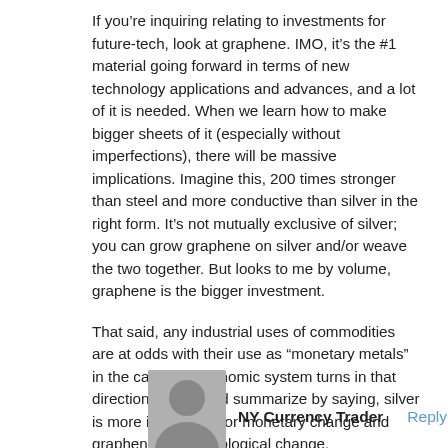If you're inquiring relating to investments for future-tech, look at graphene. IMO, it's the #1 material going forward in terms of new technology applications and advances, and a lot of it is needed. When we learn how to make bigger sheets of it (especially without imperfections), there will be massive implications. Imagine this, 200 times stronger than steel and more conductive than silver in the right form. It's not mutually exclusive of silver; you can grow graphene on silver and/or weave the two together. But looks to me by volume, graphene is the bigger investment.
That said, any industrial uses of commodities are at odds with their use as “monetary metals” in the case the economic system turns in that direction. So I would summarize by saying, silver is more interesting for monetary change and graphene for technological change.
NY Currency Trader   Reply